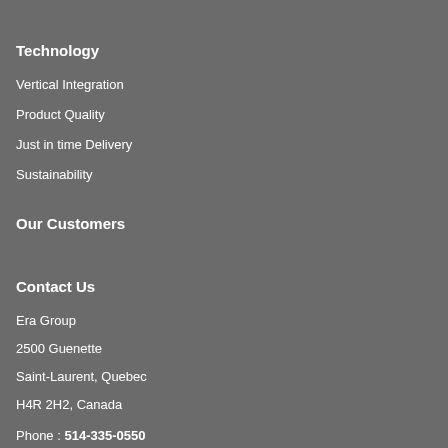Technology
Vertical Integration
Product Quality
Just in time Delivery
Sustainability
Our Customers
Contact Us
Era Group
2500 Guenette
Saint-Laurent, Quebec
H4R 2H2, Canada
Phone : 514-335-0550